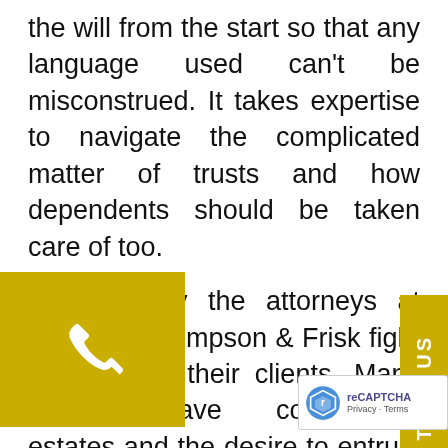the will from the start so that any language used can't be misconstrued. It takes expertise to navigate the complicated matter of trusts and how dependents should be taken care of too.
This is why the attorneys at Schwab, Thompson & Frisk fight so hard for their clients. Many people have complicated estates and the desire to entrust their worldly goods only to people and institutions they believe will do right by them.
...reat deal of practice in family, business, ...te law, we can help you make that happen.
The lawyers at our West Fargo, North Dakota and Dickinson, North Dakota offices have much experience in the sometimes tricky area of estate planning, and we look forward to using this